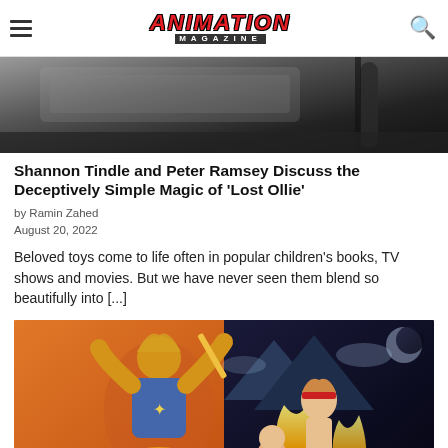Animation Magazine
[Figure (photo): Close-up dark photo showing vehicle or mechanical parts, dark tones]
Shannon Tindle and Peter Ramsey Discuss the Deceptively Simple Magic of 'Lost Ollie'
by Ramin Zahed
August 20, 2022
Beloved toys come to life often in popular children's books, TV shows and movies. But we have never seen them blend so beautifully into [...]
[Figure (photo): Two animated characters: left side shows a muscular adventure character with a sword on orange background; right side shows an anime-style character with fire effects on dark background]